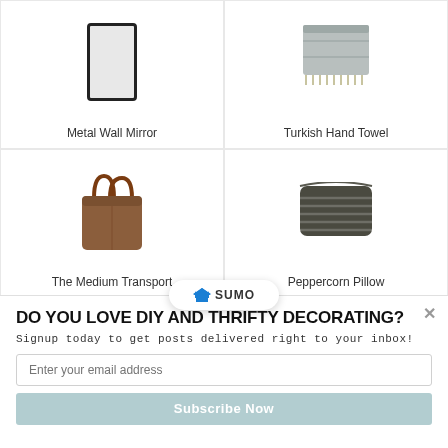[Figure (photo): Product card: Metal Wall Mirror — rectangular black-framed mirror on white background]
Metal Wall Mirror
[Figure (photo): Product card: Turkish Hand Towel — gray folded towel with fringe on white background]
Turkish Hand Towel
[Figure (photo): Product card: The Medium Transport — brown leather tote bag on white background]
The Medium Transport
[Figure (logo): SUMO logo badge with crown icon]
[Figure (photo): Product card: Peppercorn Pillow — dark striped pillow on white background]
Peppercorn Pillow
DO YOU LOVE DIY AND THRIFTY DECORATING?
Signup today to get posts delivered right to your inbox!
Enter your email address
Subscribe Now